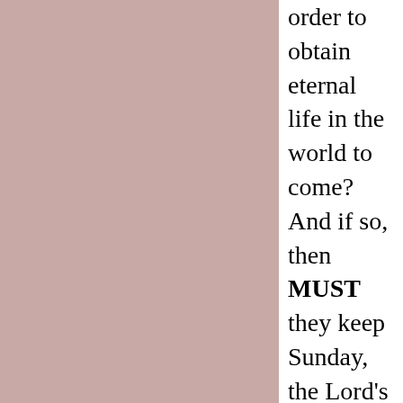order to obtain eternal life in the world to come? And if so, then MUST they keep Sunday, the Lord's Day as a day of